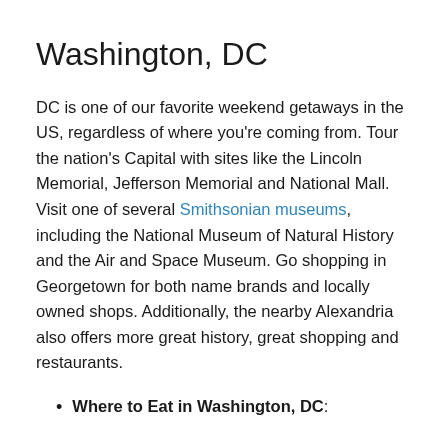Washington, DC
DC is one of our favorite weekend getaways in the US, regardless of where you’re coming from. Tour the nation’s Capital with sites like the Lincoln Memorial, Jefferson Memorial and National Mall. Visit one of several Smithsonian museums, including the National Museum of Natural History and the Air and Space Museum. Go shopping in Georgetown for both name brands and locally owned shops. Additionally, the nearby Alexandria also offers more great history, great shopping and restaurants.
Where to Eat in Washington, DC: